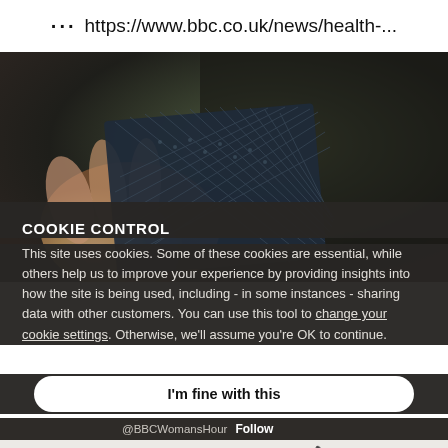••• https://www.bbc.co.uk/news/health-...
[Figure (photo): A hand holding a piece of dark blue mesh/fabric material against a dark background]
COOKIE CONTROL
This site uses cookies. Some of these cookies are essential, while others help us to improve your experience by providing insights into how the site is being used, including - in some instances - sharing data with other customers. You can use this tool to change your cookie settings. Otherwise, we'll assume you're OK to continue.
I'm fine with this
@BBCWomansHour  Follow
FREETHS   More details